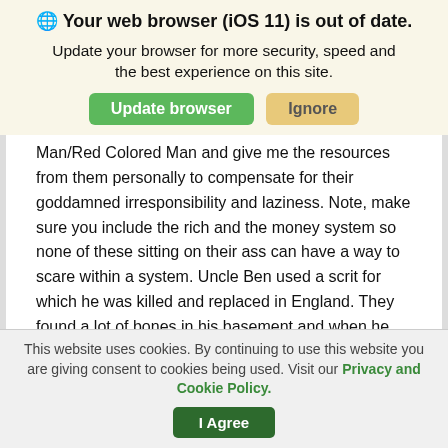🌐 Your web browser (iOS 11) is out of date.
Update your browser for more security, speed and the best experience on this site.
Man/Red Colored Man and give me the resources from them personally to compensate for their goddamned irresponsibility and laziness. Note, make sure you include the rich and the money system so none of these sitting on their ass can have a way to scare within a system. Uncle Ben used a scrit for which he was killed and replaced in England. They found a lot of bones in his basement and when he told them he was using a scrit is when he mysteriously started pushing the revolution. Where money is not evil, it being used allows people to hide. We weren't allowed don't allow
This website uses cookies. By continuing to use this website you are giving consent to cookies being used. Visit our Privacy and Cookie Policy.